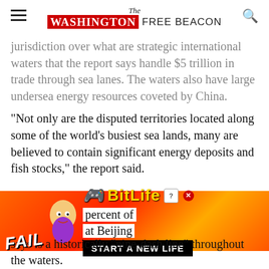The Washington Free Beacon
jurisdiction over what are strategic international waters that the report says handle $5 trillion in trade through sea lanes. The waters also have large undersea energy resources coveted by China.
"Not only are the disputed territories located along some of the world's busiest sea lands, many are believed to contain significant energy deposits and fish stocks," the report said.
China also has made a vague, legally ... percent of ... at Beijing says is a historically "nine-dash line" throughout the waters.
[Figure (screenshot): BitLife advertisement overlay with orange/red background, FAIL text, cartoon character, BitLife logo, and START A NEW LIFE button]